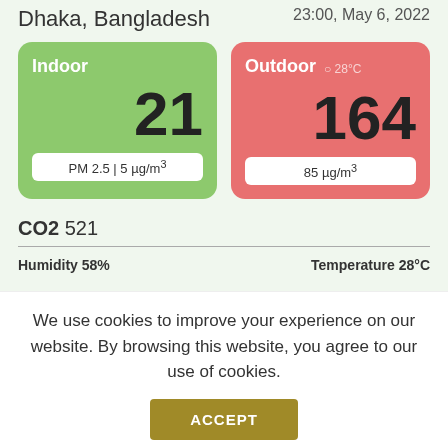23:00, May 6, 2022
Dhaka, Bangladesh
[Figure (infographic): Indoor air quality card (green background): value 21, PM 2.5 | 5 µg/m³. Outdoor air quality card (red background): value 164, 85 µg/m³, temperature 28°C.]
CO2 521
Humidity 58%   Temperature 28°C
We use cookies to improve your experience on our website. By browsing this website, you agree to our use of cookies.
ACCEPT